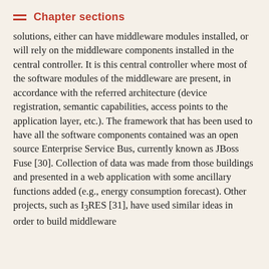Chapter sections
solutions, either can have middleware modules installed, or will rely on the middleware components installed in the central controller. It is this central controller where most of the software modules of the middleware are present, in accordance with the referred architecture (device registration, semantic capabilities, access points to the application layer, etc.). The framework that has been used to have all the software components contained was an open source Enterprise Service Bus, currently known as JBoss Fuse [30]. Collection of data was made from those buildings and presented in a web application with some ancillary functions added (e.g., energy consumption forecast). Other projects, such as I3RES [31], have used similar ideas in order to build middleware solutions for the Internet of things-based and...